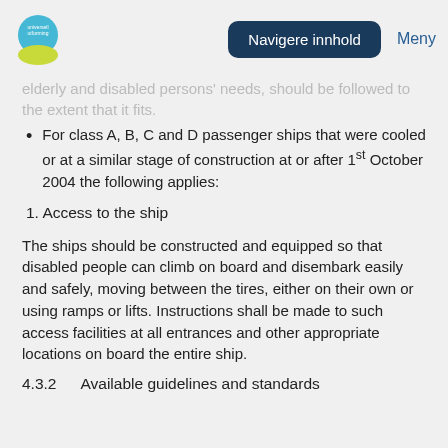Navigere innhold  Meny
elderly and disabled persons' needs, should be followed to the extent that it fits.
For class A, B, C and D passenger ships that were cooled or at a similar stage of construction at or after 1st October 2004 the following applies:
1. Access to the ship
The ships should be constructed and equipped so that disabled people can climb on board and disembark easily and safely, moving between the tires, either on their own or using ramps or lifts. Instructions shall be made to such access facilities at all entrances and other appropriate locations on board the entire ship.
4.3.2    Available guidelines and standards